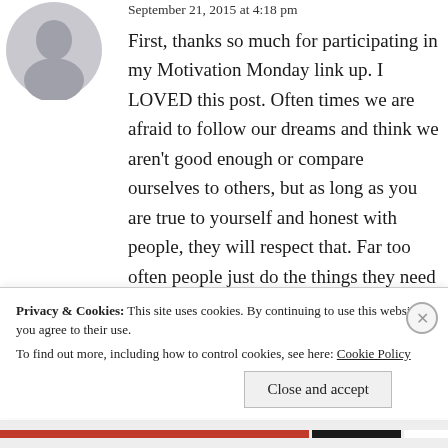[Figure (photo): Gray circular avatar placeholder icon of a person silhouette]
September 21, 2015 at 4:18 pm
First, thanks so much for participating in my Motivation Monday link up. I LOVED this post. Often times we are afraid to follow our dreams and think we aren't good enough or compare ourselves to others, but as long as you are true to yourself and honest with people, they will respect that. Far too often people just do the things they need to get by without doing the things in life that really bring them joy, especially in regards to work.
Privacy & Cookies: This site uses cookies. By continuing to use this website, you agree to their use.
To find out more, including how to control cookies, see here: Cookie Policy
Close and accept